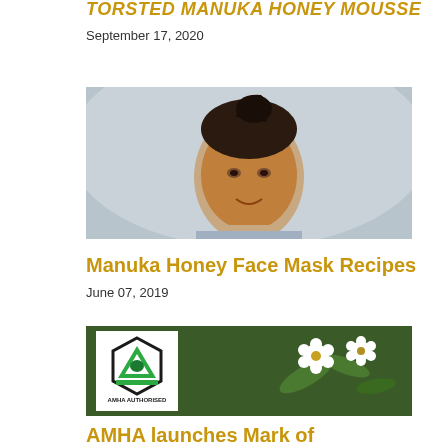TORSTED MANUKA HONEY MOUSSE
September 17, 2020
[Figure (photo): Woman with orange/honey face mask applied to her face, looking at camera, light blue-grey background]
Manuka Honey Face Mask Recipes
June 07, 2019
[Figure (photo): AMHA Authorised logo (hexagon with triangle and Australia map inside, black and green) on white background, with white manuka flowers on green background on the right]
AMHA launches Mark of